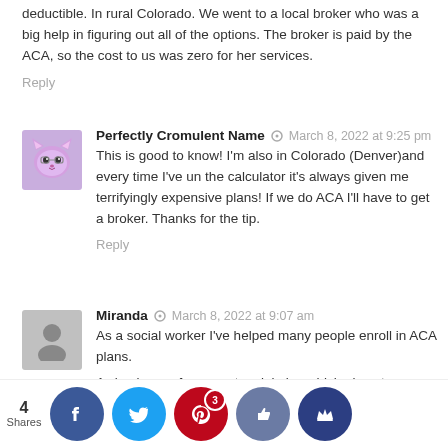deductible. In rural Colorado. We went to a local broker who was a big help in figuring out all of the options. The broker is paid by the ACA, so the cost to us was zero for her services.
Reply
Perfectly Cromulent Name · March 8, 2022 at 9:25 pm
This is good to know! I'm also in Colorado (Denver)and every time I've un the calculator it's always given me terrifyingly expensive plans! If we do ACA I'll have to get a broker. Thanks for the tip.
Reply
Miranda · March 8, 2022 at 9:07 am
As a social worker I've helped many people enroll in ACA plans.
A simple way for many to minimize which plans to consider, and an important consideration for many, is if there are any hospitals or providers you want covered. Probably not an option/issue in rural areas, but in metros no plan covers all hospitals.
T... always ...d in a... ...ency, b... ...u are
4 Shares